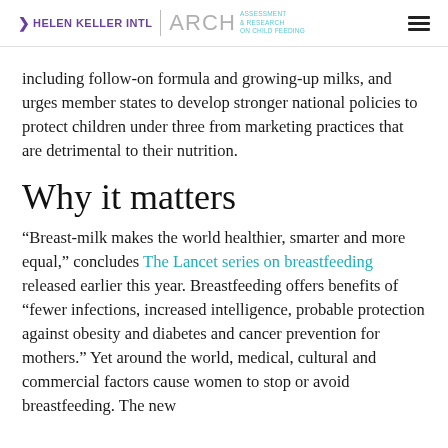HELEN KELLER INTL | ARCH ASSESSMENT & RESEARCH ON CHILD FEEDING
including follow-on formula and growing-up milks, and urges member states to develop stronger national policies to protect children under three from marketing practices that are detrimental to their nutrition.
Why it matters
“Breast-milk makes the world healthier, smarter and more equal,” concludes The Lancet series on breastfeeding released earlier this year. Breastfeeding offers benefits of “fewer infections, increased intelligence, probable protection against obesity and diabetes and cancer prevention for mothers.” Yet around the world, medical, cultural and commercial factors cause women to stop or avoid breastfeeding. The new